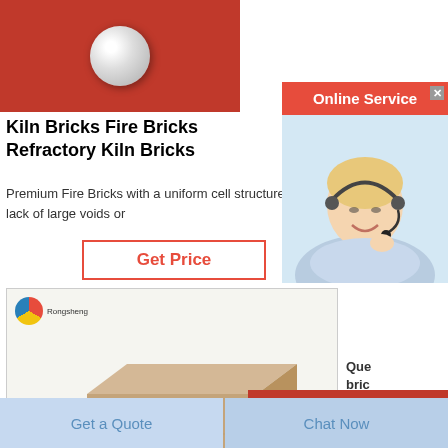[Figure (photo): Product photo top — glass ball on red background]
Kiln Bricks Fire Bricks Refractory Kiln Bricks
Premium Fire Bricks with a uniform cell structure and lack of large voids or
[Figure (other): Get Price button — red border with red text]
[Figure (photo): Photo of a tan/beige fire brick with Rongsheng logo]
[Figure (other): Online Service widget with agent photo, Need Quotation & Suggestion popup, Free Chat button, Get Price button]
Que bric Tryin betw
[Figure (other): Bottom buttons: Get a Quote and Chat Now]